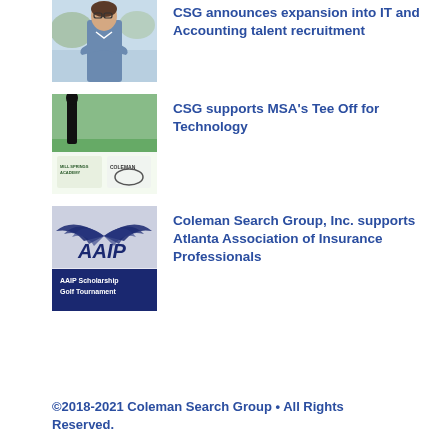[Figure (photo): Photo of a man in a blue shirt with arms crossed, outdoors]
CSG announces expansion into IT and Accounting talent recruitment
[Figure (photo): Photo of a golf course scene with a Mill Springs Academy and Coleman sponsored banner]
CSG supports MSA's Tee Off for Technology
[Figure (photo): AAIP logo with text AAIP Scholarship Golf Tournament on dark background]
Coleman Search Group, Inc. supports Atlanta Association of Insurance Professionals
©2018-2021 Coleman Search Group • All Rights Reserved.